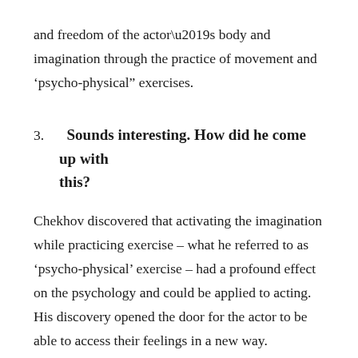and freedom of the actor’s body and imagination through the practice of movement and ‘psycho-physical” exercises.
3.  Sounds interesting. How did he come up with this?
Chekhov discovered that activating the imagination while practicing exercise – what he referred to as ‘psycho-physical’ exercise – had a profound effect on the psychology and could be applied to acting. His discovery opened the door for the actor to be able to access their feelings in a new way.